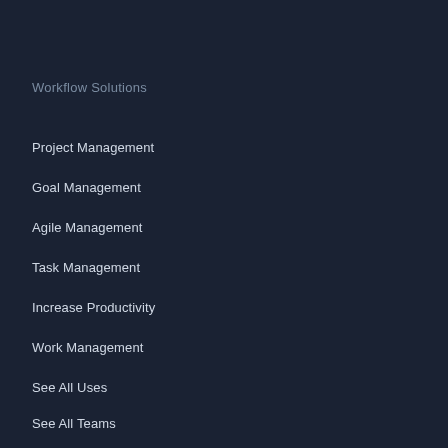Workflow Solutions
Project Management
Goal Management
Agile Management
Task Management
Increase Productivity
Work Management
See All Uses
See All Teams
Resources
Asana Guide
Forum
Support
App Directory
Developers & API
Partners
Asana Community
Certified Pros
Events